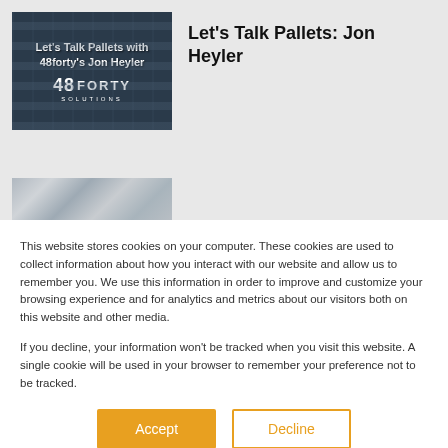[Figure (screenshot): Thumbnail image for podcast/article: dark blue background with stacked pallets, white text reading 'Let's Talk Pallets with 48forty's Jon Heyler' and 48forty Solutions logo]
Let's Talk Pallets: Jon Heyler
[Figure (photo): Partial thumbnail image showing warehouse shelving with items, partially visible at bottom]
This website stores cookies on your computer. These cookies are used to collect information about how you interact with our website and allow us to remember you. We use this information in order to improve and customize your browsing experience and for analytics and metrics about our visitors both on this website and other media.
If you decline, your information won't be tracked when you visit this website. A single cookie will be used in your browser to remember your preference not to be tracked.
Accept
Decline